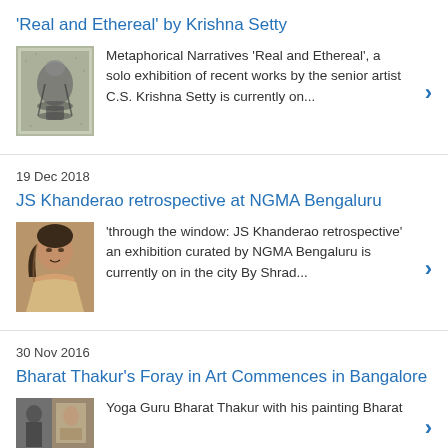'Real and Ethereal' by Krishna Setty
[Figure (illustration): Artwork thumbnail showing a decorative chalice or vessel motif on a textured background]
Metaphorical Narratives 'Real and Ethereal', a solo exhibition of recent works by the senior artist C.S. Krishna Setty is currently on...
19 Dec 2018
JS Khanderao retrospective at NGMA Bengaluru
[Figure (illustration): Artwork thumbnail showing a portrait painting of a person in yellow/ochre tones]
'through the window: JS Khanderao retrospective' an exhibition curated by NGMA Bengaluru is currently on in the city By Shrad...
30 Nov 2016
Bharat Thakur's Foray in Art Commences in Bangalore
[Figure (photo): Thumbnail photo showing Bharat Thakur with his painting]
Yoga Guru Bharat Thakur with his painting Bharat